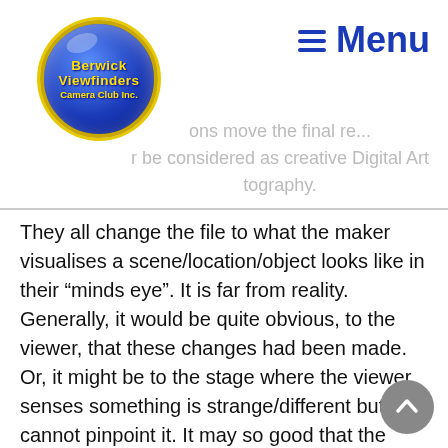[Figure (logo): Berwick Viewfinders Camera Club Inc. circular logo with blue background and yellow text]
≡ Menu
...ons move the final r... ...r be considered as creative Digital Art ...raphy.
They all change the file to what the maker visualises a scene/location/object looks like in their "minds eye". It is far from reality. Generally, it would be quite obvious, to the viewer, that these changes had been made. Or, it might be to the stage where the viewer senses something is strange/different but cannot pinpoint it. It may so good that the viewer is not aware that it has been done. eg Sky replacement.
Use of:-
Calibration
Colour Grading
HSL